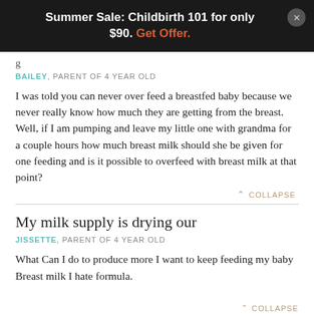Summer Sale: Childbirth 101 for only $90. Get Offer.
g
BAILEY, PARENT OF 4 YEAR OLD
I was told you can never over feed a breastfed baby because we never really know how much they are getting from the breast. Well, if I am pumping and leave my little one with grandma for a couple hours how much breast milk should she be given for one feeding and is it possible to overfeed with breast milk at that point?
COLLAPSE
My milk supply is drying our
JISSETTE, PARENT OF 4 YEAR OLD
What Can I do to produce more I want to keep feeding my baby Breast milk I hate formula.
COLLAPSE